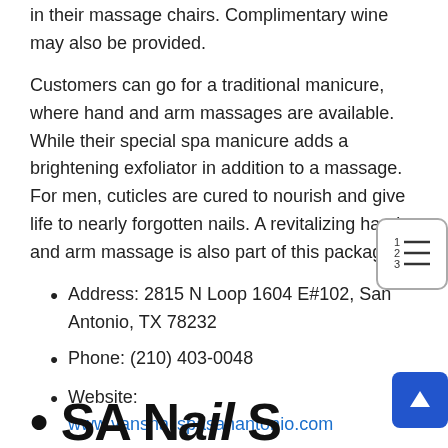in their massage chairs. Complimentary wine may also be provided.
Customers can go for a traditional manicure, where hand and arm massages are available. While their special spa manicure adds a brightening exfoliator in addition to a massage. For men, cuticles are cured to nourish and give life to nearly forgotten nails. A revitalizing hand and arm massage is also part of this package.
Address: 2815 N Loop 1604 E#102, San Antonio, TX 78232
Phone: (210) 403-0048
Website: www.vansnailspasanantonio.com